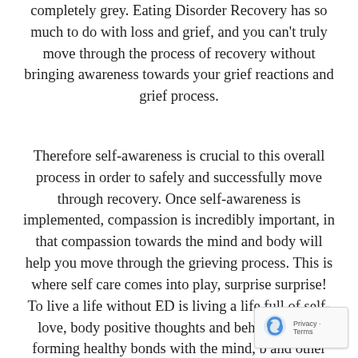completely grey. Eating Disorder Recovery has so much to do with loss and grief, and you can't truly move through the process of recovery without bringing awareness towards your grief reactions and grief process.
Therefore self-awareness is crucial to this overall process in order to safely and successfully move through recovery. Once self-awareness is implemented, compassion is incredibly important, in that compassion towards the mind and body will help you move through the grieving process. This is where self care comes into play, surprise surprise! To live a life without ED is living a life full of self-love, body positive thoughts and behaviors, forming healthy bonds with the mind, b and other relationships through self-care, self-